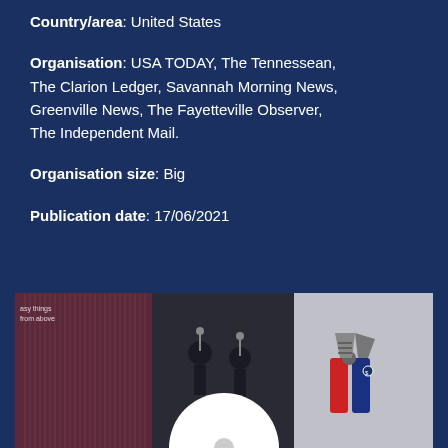Country/area: United States
Organisation: USA TODAY, The Tennessean, The Clarion Ledger, Savannah Morning News, Greenville News, The Fayetteville Observer, The Independent Mail.
Organisation size: Big
Publication date: 17/06/2021
[Figure (photo): A composite image showing three panels: left panel with a purple/maroon abstract waveform design with small text, center panel with a dark image of people at microphones or instruments, right panel with a tool (pliers or wire cutters) against a light gray background.]